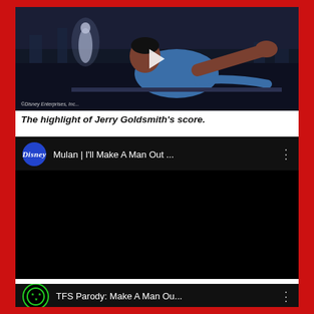[Figure (screenshot): Screenshot of an animated film scene (Mulan/Shang-like character) with a play button overlay and Disney Enterprises copyright notice at bottom left.]
The highlight of Jerry Goldsmith’s score.
[Figure (screenshot): YouTube video embed showing 'Mulan | I'll Make A Man Out ...' with Disney channel icon (blue circle with Disney text) and three-dot menu icon.]
[Figure (screenshot): Partial YouTube video embed showing 'TFS Parody: Make A Man Ou...' with a green circular TFS logo and three-dot menu icon.]